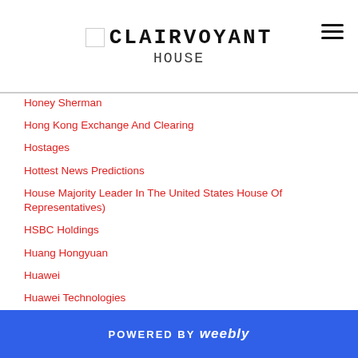CLAIRVOYANT HOUSE
Honey Sherman
Hong Kong Exchange And Clearing
Hostages
Hottest News Predictions
House Majority Leader In The United States House Of Representatives)
HSBC Holdings
Huang Hongyuan
Huawei
Huawei Technologies
Human Genes
Hunter Biden
Hussain Sajwani (Trump's Partner In The United Arab Emirates
Idaho
POWERED BY weebly